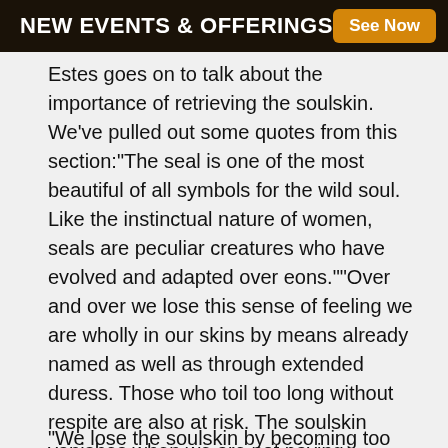NEW EVENTS & OFFERINGS  See Now
Estes goes on to talk about the importance of retrieving the soulskin. We've pulled out some quotes from this section:“The seal is one of the most beautiful of all symbols for the wild soul. Like the instinctual nature of women, seals are peculiar creatures who have evolved and adapted over eons.”“Over and over we lose this sense of feeling we are wholly in our skins by means already named as well as through extended duress. Those who toil too long without respite are also at risk. The soulskin vanishes when we are not paying attention to what we are really doing and particularly the cost to us.”
“We lose the soulskin by becoming too